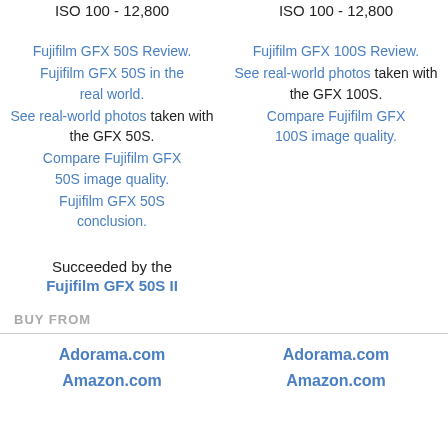51.4 megapixels  |  102.0 megapixels
ISO 100 - 12,800  |  ISO 100 - 12,800
Fujifilm GFX 50S Review.
Fujifilm GFX 50S in the real world.
See real-world photos taken with the GFX 50S.
Compare Fujifilm GFX 50S image quality.
Fujifilm GFX 50S conclusion.
Fujifilm GFX 100S Review.
See real-world photos taken with the GFX 100S.
Compare Fujifilm GFX 100S image quality.
Succeeded by the Fujifilm GFX 50S II
BUY FROM
Adorama.com  |  Adorama.com
Amazon.com  |  Amazon.com